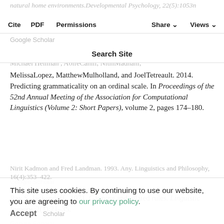natural home environments. Developmental Psychology, 22(5):1053.
Cite  PDF  Permissions  Share  Views
Google Scholar
Search Site
Michael Heilman, AoifeCahill, NitinMadnani, MelissaLopez, MatthewMulholland, and JoelTetreault. 2014. Predicting grammaticality on an ordinal scale. In Proceedings of the 52nd Annual Meeting of the Association for Computational Linguistics (Volume 2: Short Papers), volume 2, pages 174–180.
Google Scholar
Ray S. Jackendoff . 1971. Gapping and related rules. Linguistic Inquiry, 2(1):21–35.
Google Scholar
Nirit Kadmon and Fred Landman. 1993. Any. Linguistics and Philosophy, 16(4):353–422.
Google Scholar
This site uses cookies. By continuing to use our website, you are agreeing to our privacy policy. Accept